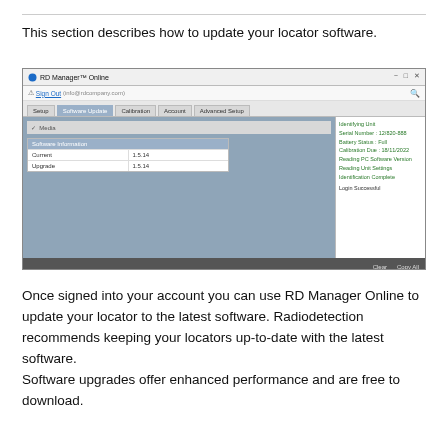This section describes how to update your locator software.
[Figure (screenshot): RD Manager Online software update screen showing Software Information table with Current version 1.5.14 and Upgrade version 1.5.14, along with login status panel on right showing unit identification details and Login Successful message.]
Once signed into your account you can use RD Manager Online to update your locator to the latest software. Radiodetection recommends keeping your locators up-to-date with the latest software.
Software upgrades offer enhanced performance and are free to download.